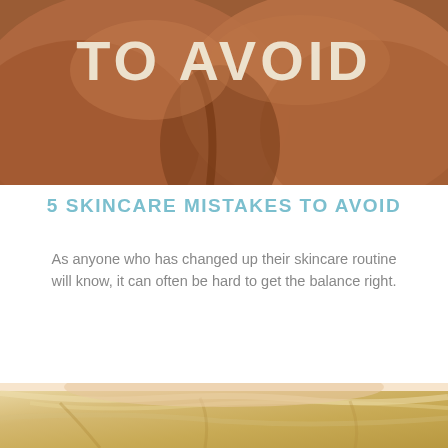[Figure (photo): Close-up photo of skin texture with large bold text overlay reading 'TO AVOID' in cream/white, part of a skincare article header image]
5 SKINCARE MISTAKES TO AVOID
As anyone who has changed up their skincare routine will know, it can often be hard to get the balance right.
[Figure (photo): Bottom portion of page showing top of a person's head with blonde hair, partially visible, suggesting a second skincare-related image]